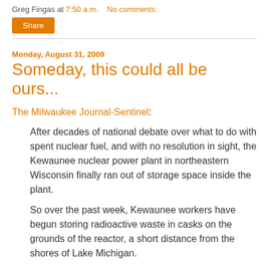Greg Fingas at 7:50 a.m.   No comments:
Share
Monday, August 31, 2009
Someday, this could all be ours...
The Milwaukee Journal-Sentinel:
After decades of national debate over what to do with spent nuclear fuel, and with no resolution in sight, the Kewaunee nuclear power plant in northeastern Wisconsin finally ran out of storage space inside the plant.
So over the past week, Kewaunee workers have begun storing radioactive waste in casks on the grounds of the reactor, a short distance from the shores of Lake Michigan.
After a practice run a few weeks ago, workers moved spent fuel into the first of the 25-ton, 16-